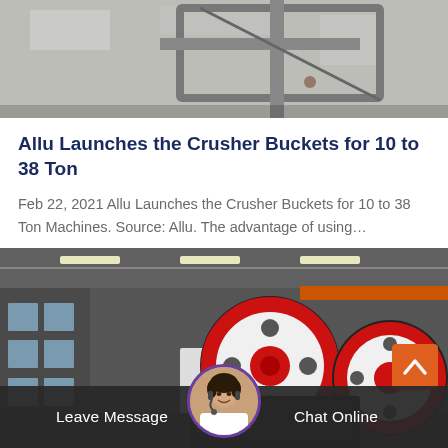[Figure (photo): Industrial metal frame or grate structure mounted on a wall, gray tones]
Allu Launches the Crusher Buckets for 10 to 38 Ton
Feb 22, 2021 Allu Launches the Crusher Buckets for 10 to 38 Ton Machines. Source: Allu. The advantage of using…
[Figure (photo): Industrial jaw crusher machines with red and white flywheels inside a factory, with a bottom bar showing Leave Message and Chat Online with a support agent avatar]
Leave Message   Chat Online